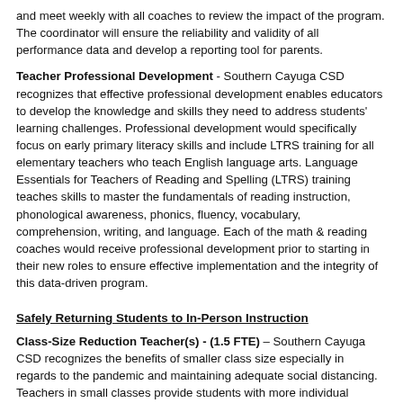and meet weekly with all coaches to review the impact of the program.  The coordinator will ensure the reliability and validity of all performance data and develop a reporting tool for parents.
Teacher Professional Development - Southern Cayuga CSD recognizes that effective professional development enables educators to develop the knowledge and skills they need to address students' learning challenges.  Professional development would specifically focus on early primary literacy skills and include LTRS training for all elementary teachers who teach English language arts.  Language Essentials for Teachers of Reading and Spelling (LTRS) training teaches skills to master the fundamentals of reading instruction, phonological awareness, phonics, fluency, vocabulary, comprehension, writing, and language.   Each of the math & reading coaches would receive professional development prior to starting in their new roles to ensure effective implementation and the integrity of this data-driven program.
Safely Returning Students to In-Person Instruction
Class-Size Reduction Teacher(s) - (1.5 FTE) – Southern Cayuga CSD recognizes the benefits of smaller class size especially in regards to the pandemic and maintaining adequate social distancing.  Teachers in small classes provide students with more individual attention, spend more time on instruction, and cover more material effectively.  Anticipated as a two-year expense then discontinued.
Summer, Afterschool, and Extended Learning and Enrichment Programs